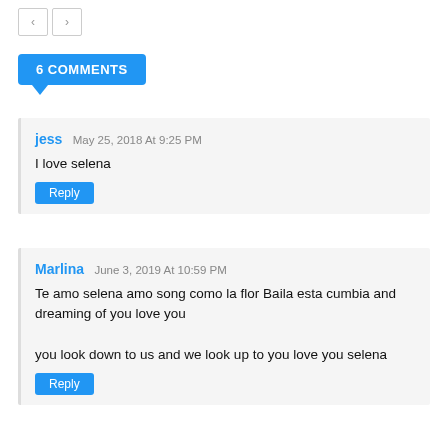< >
6 COMMENTS
jess May 25, 2018 At 9:25 PM
I love selena
Reply
Marlina June 3, 2019 At 10:59 PM
Te amo selena amo song como la flor Baila esta cumbia and dreaming of you love you
you look down to us and we look up to you love you selena
Reply